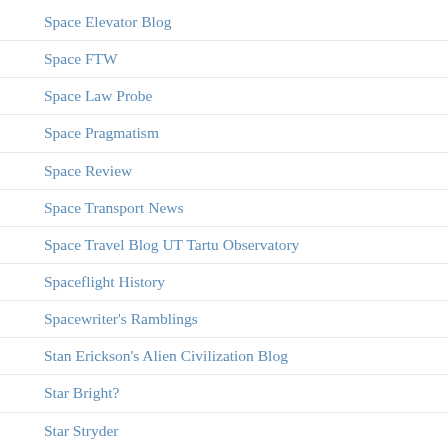Space Elevator Blog
Space FTW
Space Law Probe
Space Pragmatism
Space Review
Space Transport News
Space Travel Blog UT Tartu Observatory
Spaceflight History
Spacewriter's Ramblings
Stan Erickson's Alien Civilization Blog
Star Bright?
Star Stryder
Starts with a Bang
Strange Paths
Sufficiently Advanced